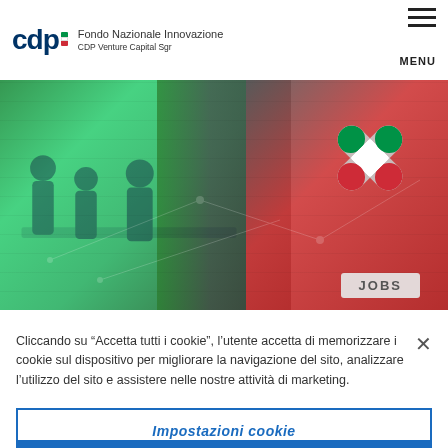[Figure (logo): CDP logo with Italian flag and text 'Fondo Nazionale Innovazione / CDP Venture Capital Sgr']
[Figure (photo): Hero image of people working in an office, split with green tint on left and red tint on right, with a large X icon featuring Italian flag colors and a 'JOBS' button on the right side]
Cliccando su “Accetta tutti i cookie”, l’utente accetta di memorizzare i cookie sul dispositivo per migliorare la navigazione del sito, analizzare l’utilizzo del sito e assistere nelle nostre attività di marketing.
Impostazioni cookie
Rifiuta tutti